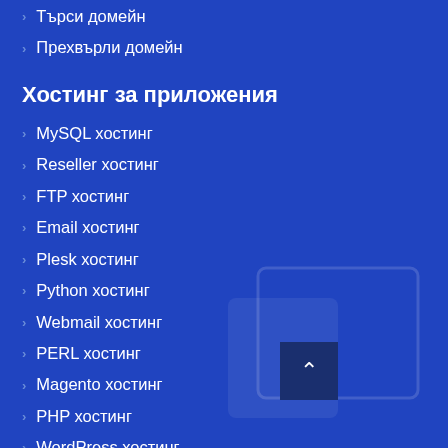Търси домейн
Прехвърли домейн
Хостинг за приложения
MySQL хостинг
Reseller хостинг
FTP хостинг
Email хостинг
Plesk хостинг
Python хостинг
Webmail хостинг
PERL хостинг
Magento хостинг
PHP хостинг
WordPress хостинг
Joomla хостинг